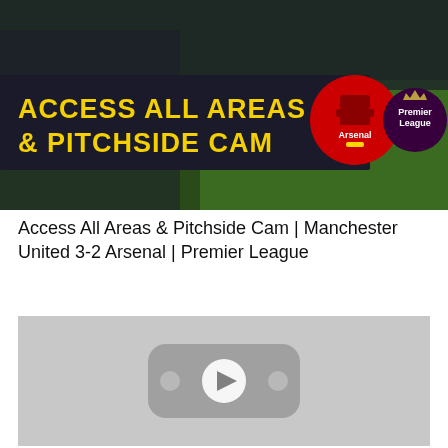[Figure (screenshot): Video thumbnail showing a football match scene with overlay banner reading 'ACCESS ALL AREAS & PITCHSIDE CAM' in yellow text on dark background, with Arsenal FC crest and Premier League logo on the right side.]
Access All Areas & Pitchside Cam | Manchester United 3-2 Arsenal | Premier League
[Figure (screenshot): Gray video player placeholder with YouTube-style play button icon in the center.]